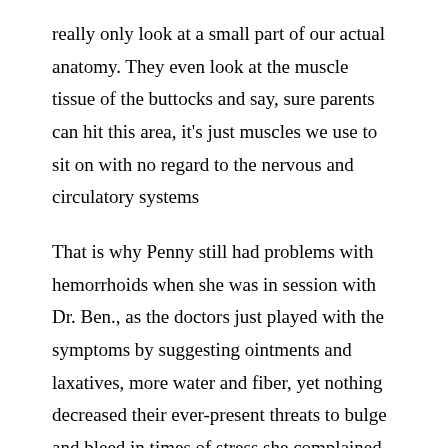really only look at a small part of our actual anatomy. They even look at the muscle tissue of the buttocks and say, sure parents can hit this area, it's just muscles we use to sit on with no regard to the nervous and circulatory systems
That is why Penny still had problems with hemorrhoids when she was in session with Dr. Ben., as the doctors just played with the symptoms by suggesting ointments and laxatives, more water and fiber, yet nothing decreased their ever-present threats to bulge and bleed in times of stress she complained.  Most doctors do not understand the cellular memories of reoccurring complaints in the body.